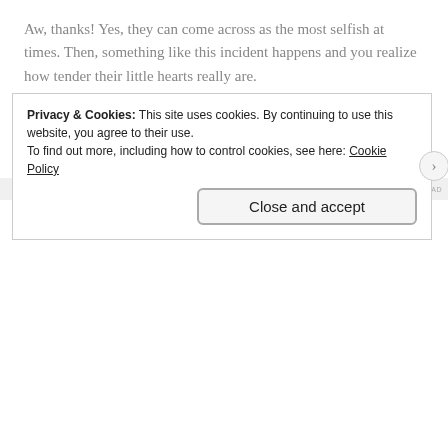Aw, thanks! Yes, they can come across as the most selfish at times. Then, something like this incident happens and you realize how tender their little hearts really are.
★ Like
Reply
[Figure (other): Gray advertisement placeholder bar with dots and 'REPORT THIS AD' label]
Privacy & Cookies: This site uses cookies. By continuing to use this website, you agree to their use.
To find out more, including how to control cookies, see here: Cookie Policy
Close and accept